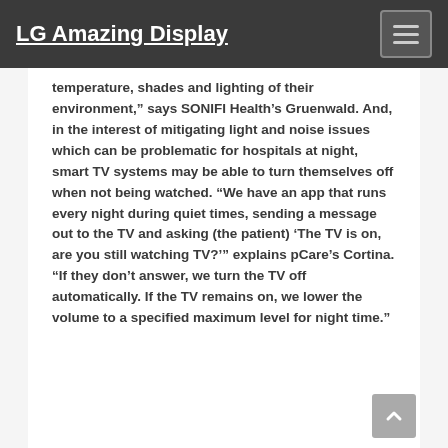LG Amazing Display
temperature, shades and lighting of their environment,” says SONIFI Health’s Gruenwald. And, in the interest of mitigating light and noise issues which can be problematic for hospitals at night, smart TV systems may be able to turn themselves off when not being watched. “We have an app that runs every night during quiet times, sending a message out to the TV and asking (the patient) ‘The TV is on, are you still watching TV?’” explains pCare’s Cortina. “If they don’t answer, we turn the TV off automatically. If the TV remains on, we lower the volume to a specified maximum level for night time.”